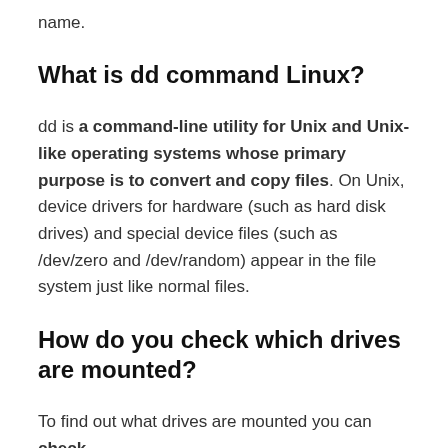name.
What is dd command Linux?
dd is a command-line utility for Unix and Unix-like operating systems whose primary purpose is to convert and copy files. On Unix, device drivers for hardware (such as hard disk drives) and special device files (such as /dev/zero and /dev/random) appear in the file system just like normal files.
How do you check which drives are mounted?
To find out what drives are mounted you can check /etc/fstab which is a list of all drives mounted and